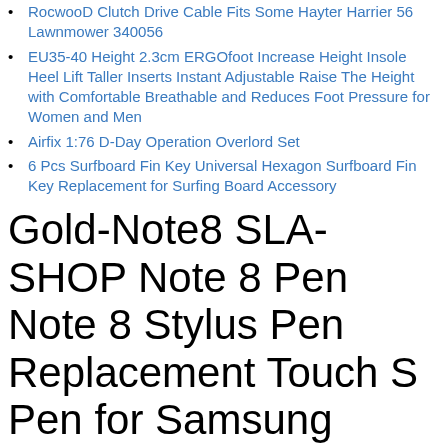RocwooD Clutch Drive Cable Fits Some Hayter Harrier 56 Lawnmower 340056
EU35-40 Height 2.3cm ERGOfoot Increase Height Insole Heel Lift Taller Inserts Instant Adjustable Raise The Height with Comfortable Breathable and Reduces Foot Pressure for Women and Men
Airfix 1:76 D-Day Operation Overlord Set
6 Pcs Surfboard Fin Key Universal Hexagon Surfboard Fin Key Replacement for Surfing Board Accessory
Gold-Note8 SLA-SHOP Note 8 Pen Note 8 Stylus Pen Replacement Touch S Pen for Samsung Galaxy Note 8 Phone
no need to punch Brown-1pack water dispenser paper cup holder XIE Disposable plastic cup paper cup holder wall-mounted disposable paper cup holder
Size XXL Kooga Se7ens Loopback Fleece Off Field Rugby